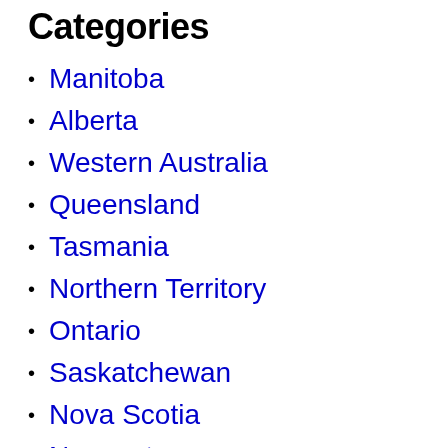Categories
Manitoba
Alberta
Western Australia
Queensland
Tasmania
Northern Territory
Ontario
Saskatchewan
Nova Scotia
Nunavut